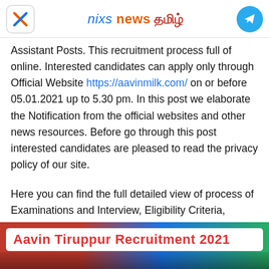nixs news தமிழ்
Assistant Posts. This recruitment process full of online. Interested candidates can apply only through Official Website https://aavinmilk.com/ on or before 05.01.2021 up to 5.30 pm. In this post we elaborate the Notification from the official websites and other news resources. Before go through this post interested candidates are pleased to read the privacy policy of our site.
Here you can find the full detailed view of process of Examinations and Interview, Eligibility Criteria, Application Fee, How to Apply, Syllabus, Exam Date, Result Date etc,
[Figure (infographic): Banner image with text 'Aavin Tiruppur Recruitment 2021' in red bold text on white background, over a colorful gradient background with a photo strip at the bottom.]